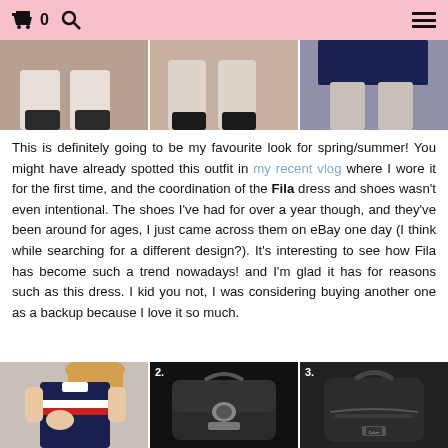🛒 0 🔍 ☰
[Figure (photo): Top portion of outfit photo showing legs in navy skirt and dark shoes, split across multiple panels with pink/beige background]
This is definitely going to be my favourite look for spring/summer! You might have already spotted this outfit in my recent vlog where I wore it for the first time, and the coordination of the Fila dress and shoes wasn't even intentional. The shoes I've had for over a year though, and they've been around for ages, I just came across them on eBay one day (I think while searching for a different design?). It's interesting to see how Fila has become such a trend nowadays! and I'm glad it has for reasons such as this dress. I kid you not, I was considering buying another one as a backup because I love it so much.
[Figure (photo): Numbered product images: 1. Navy and red striped Fila polo dress on model, 2. Black flap-over backpack (Mulberry style), 3. Black Calvin Klein backpack]